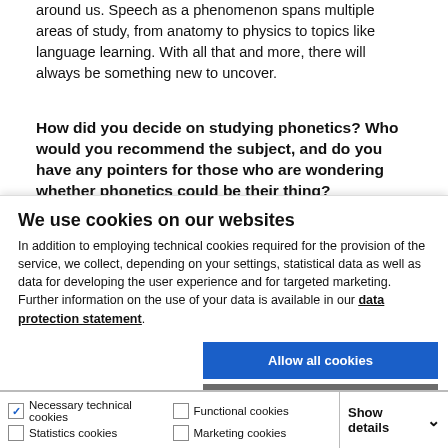around us. Speech as a phenomenon spans multiple areas of study, from anatomy to physics to topics like language learning. With all that and more, there will always be something new to uncover.
How did you decide on studying phonetics? Who would you recommend the subject, and do you have any pointers for those who are wondering whether phonetics could be their thing?
We use cookies on our websites
In addition to employing technical cookies required for the provision of the service, we collect, depending on your settings, statistical data as well as data for developing the user experience and for targeted marketing. Further information on the use of your data is available in our data protection statement.